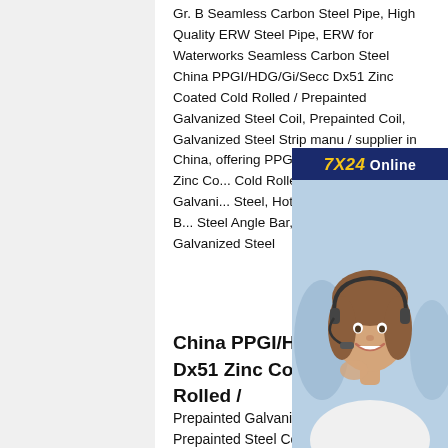Gr. B Seamless Carbon Steel Pipe, High Quality ERW Steel Pipe, ERW for Waterworks Seamless Carbon Steel China PPGI/HDG/Gi/Secc Dx51 Zinc Coated Cold Rolled / Prepainted Galvanized Steel Coil, Prepainted Coil, Galvanized Steel Strip manu / supplier in China, offering PPGI/HDG/Gi/Secc Dx51 Zinc Coated Cold Rolled / Hot Dipped Galvanized Steel, Hot Rolled Galvanized or B... Steel Angle Bar, Coated PPGI Ra... Galvanized Steel
[Figure (photo): Advertisement box with dark navy blue background showing '7X24 Online' header in yellow and white text, a photo of a smiling customer service woman wearing a headset, text 'Hello, may I help you?' and a yellow 'Get Latest Price' button]
China PPGI/HDG/Gi/Secc Dx51 Zinc Coated Cold Rolled /
Prepainted Galvanized Steel Coil, Prepainted Steel Coil, Galvanized Steel